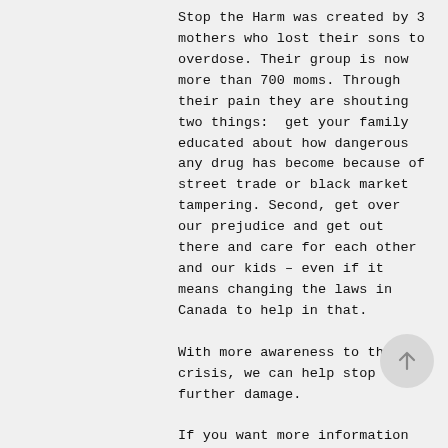Stop the Harm was created by 3 mothers who lost their sons to overdose. Their group is now more than 700 moms. Through their pain they are shouting two things:  get your family educated about how dangerous any drug has become because of street trade or black market tampering. Second, get over our prejudice and get out there and care for each other and our kids – even if it means changing the laws in Canada to help in that.
With more awareness to this crisis, we can help stop further damage.
If you want more information and resources about addiction and substance abuse go to the Canadian Centre on